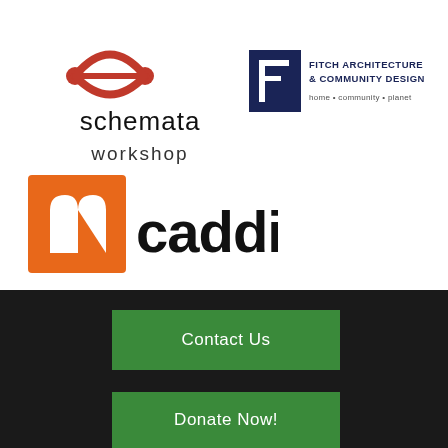[Figure (logo): Schemata Workshop logo: red circular icon with two dots and a horizontal line, with text 'schemata workshop' in black below]
[Figure (logo): Fitch Architecture & Community Design logo: dark blue square 'F' icon with text 'FITCH ARCHITECTURE & COMMUNITY DESIGN' and tagline 'home • community • planet']
[Figure (logo): Caddis logo: orange square with white 'n' arch icon on left, bold black text 'caddis' on right]
Contact Us
Donate Now!